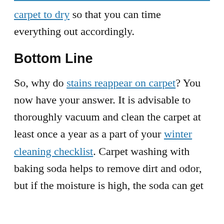carpet to dry so that you can time everything out accordingly.
Bottom Line
So, why do stains reappear on carpet? You now have your answer. It is advisable to thoroughly vacuum and clean the carpet at least once a year as a part of your winter cleaning checklist. Carpet washing with baking soda helps to remove dirt and odor, but if the moisture is high, the soda can get